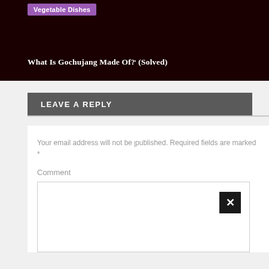[Figure (other): Dark brown/black image block with purple tag label 'Vegetable Dishes' and article title 'What Is Gochujang Made Of? (Solved)']
LEAVE A REPLY
Your email address will not be published. Required fields are marked *
Comment